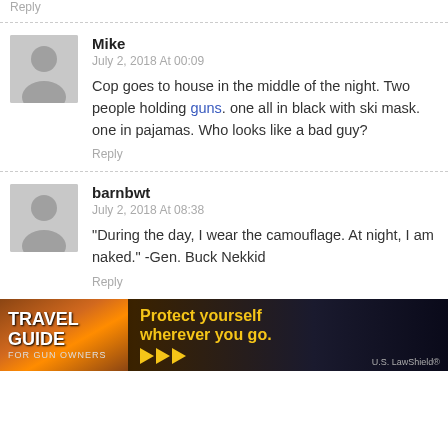Reply
Mike
July 2, 2018 At 00:09
Cop goes to house in the middle of the night. Two people holding guns. one all in black with ski mask. one in pajamas. Who looks like a bad guy?
Reply
barnbwt
July 2, 2018 At 08:38
"During the day, I wear the camouflage. At night, I am naked." -Gen. Buck Nekkid
Reply
[Figure (photo): Travel Guide for Gun Owners advertisement banner: dark background with orange/brown gradient on left showing 'TRAVEL GUIDE FOR GUN OWNERS' text, center shows 'Protect yourself wherever you go.' in yellow text with yellow play arrows, right side shows abstract feather/light burst image with U.S. LawShield branding]